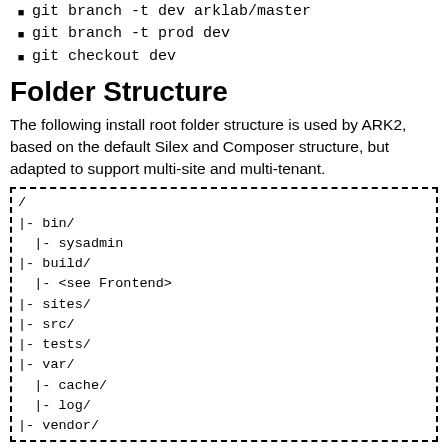git branch -t dev arklab/master
git branch -t prod dev
git checkout dev
Folder Structure
The following install root folder structure is used by ARK2, based on the default Silex and Composer structure, but adapted to support multi-site and multi-tenant.
[Figure (other): Dashed-border code block showing folder structure: /
|- bin/
  |- sysadmin
|- build/
  |- <see Frontend>
|- sites/
|- src/
|- tests/
|- var/
  |- cache/
  |- log/
|- vendor/]
The 'bin' folder holds any executable binaries, primarily the sysadmin console script
The 'build' folder holds tools and source files for building frontends